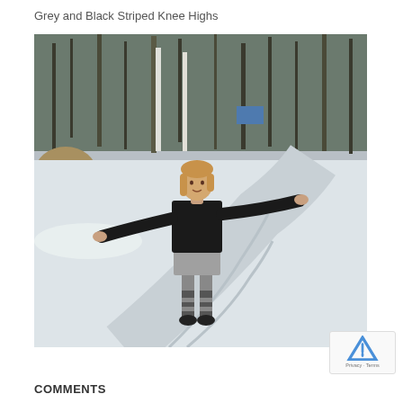Grey and Black Striped Knee Highs
[Figure (photo): A woman standing on a snowy icy road outdoors, arms spread wide, wearing a black long-sleeve top, grey skirt, and grey and black striped knee-high socks with dark shoes. Trees and a snowy landscape are visible in the background.]
COMMENTS